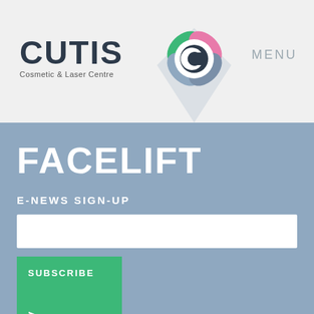[Figure (logo): Cutis Cosmetic & Laser Centre logo with stylized C flower icon and MENU navigation link]
FACELIFT
E-NEWS SIGN-UP
SUBSCRIBE >